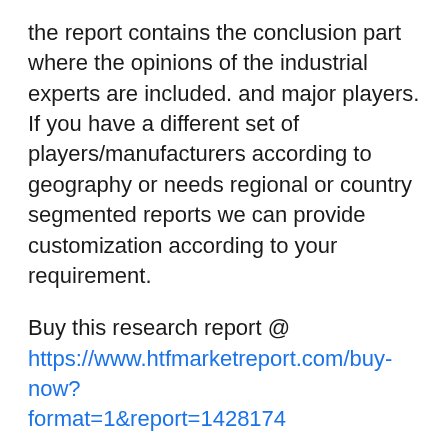the report contains the conclusion part where the opinions of the industrial experts are included. and major players. If you have a different set of players/manufacturers according to geography or needs regional or country segmented reports we can provide customization according to your requirement.
Buy this research report @ https://www.htfmarketreport.com/buy-now?format=1&report=1428174
The Study is segmented by following Product Type: Radiofrequency (RF) Ablation, Microwave Ablation, Cryoablation, Other Technologies.
Major applications/end-users industry are as